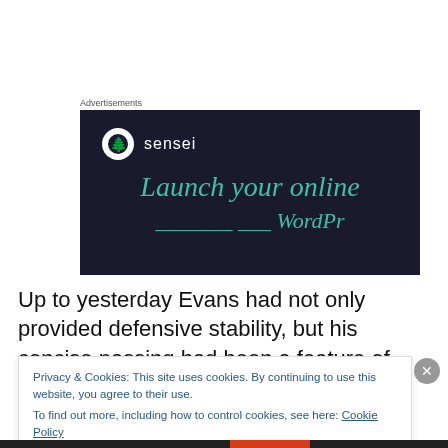[Figure (screenshot): Advertisement banner for 'sensei' with dark navy background, sensei logo (tree in circle), and teal italic text 'Launch your online' with partial second line visible]
Up to yesterday Evans had not only provided defensive stability, but his concise passing had been a feature of Latics' build-up play. However, Shrewsbury clearly realized
Privacy & Cookies: This site uses cookies. By continuing to use this website, you agree to their use.
To find out more, including how to control cookies, see here: Cookie Policy
Close and accept